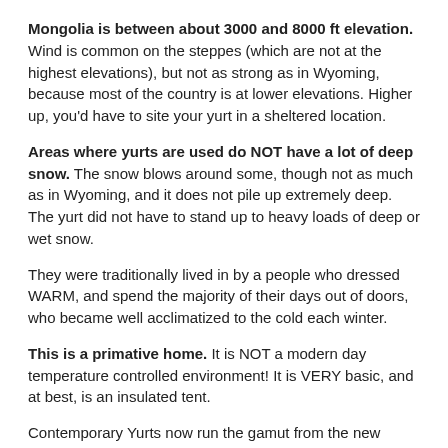Mongolia is between about 3000 and 8000 ft elevation. Wind is common on the steppes (which are not at the highest elevations), but not as strong as in Wyoming, because most of the country is at lower elevations. Higher up, you'd have to site your yurt in a sheltered location.
Areas where yurts are used do NOT have a lot of deep snow. The snow blows around some, though not as much as in Wyoming, and it does not pile up extremely deep. The yurt did not have to stand up to heavy loads of deep or wet snow.
They were traditionally lived in by a people who dressed WARM, and spend the majority of their days out of doors, who became well acclimatized to the cold each winter.
This is a primative home. It is NOT a modern day temperature controlled environment! It is VERY basic, and at best, is an insulated tent.
Contemporary Yurts now run the gamut from the new Mongolian Yurt (made of standardized materials, not inspired craftsmanship), to a minimized American version (no felted liners), to wood sided, and a collection of polygonal shaped or round buildings made of various materials going by the name of Yurt even though they share little with the traditional yurt other than being made of the least possible materials. If you make it